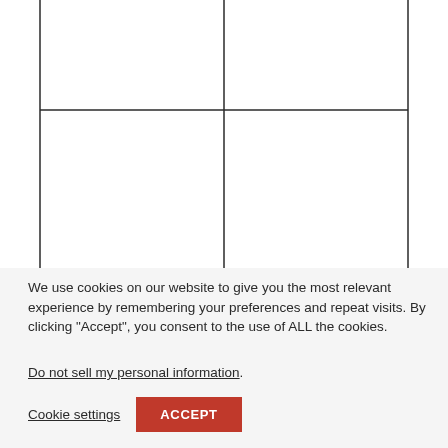[Figure (other): A 2x2 grid of empty rectangular cells with dark borders, partially cropped at the top and bottom.]
We use cookies on our website to give you the most relevant experience by remembering your preferences and repeat visits. By clicking “Accept”, you consent to the use of ALL the cookies.
Do not sell my personal information.
Cookie settings  ACCEPT